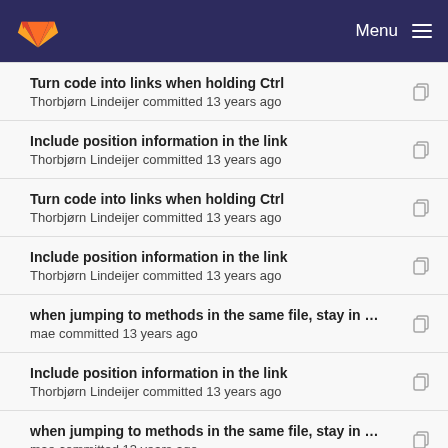GitLab Menu
Turn code into links when holding Ctrl
Thorbjørn Lindeijer committed 13 years ago
Include position information in the link
Thorbjørn Lindeijer committed 13 years ago
Turn code into links when holding Ctrl
Thorbjørn Lindeijer committed 13 years ago
Include position information in the link
Thorbjørn Lindeijer committed 13 years ago
when jumping to methods in the same file, stay in …
mae committed 13 years ago
Include position information in the link
Thorbjørn Lindeijer committed 13 years ago
when jumping to methods in the same file, stay in …
mae committed 13 years ago